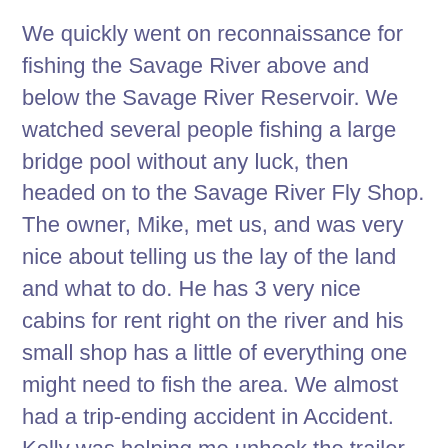We quickly went on reconnaissance for fishing the Savage River above and below the Savage River Reservoir. We watched several people fishing a large bridge pool without any luck, then headed on to the Savage River Fly Shop. The owner, Mike, met us, and was very nice about telling us the lay of the land and what to do. He has 3 very nice cabins for rent right on the river and his small shop has a little of everything one might need to fish the area. We almost had a trip-ending accident in Accident. Kelly was helping me unhook the trailer spring bar. There was too much pressure on it, and when it sprung, the release bar barely missed his valuables.
We decided to fish above the reservoir, where native brook trout live. There are several tributaries around the reservoir ranging greatly in both length and size. We fished Poplar Lick for a couple of hours with several strikes, and Kelly